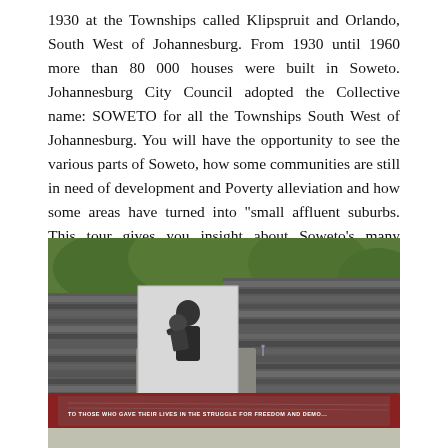1930 at the Townships called Klipspruit and Orlando, South West of Johannesburg. From 1930 until 1960 more than 80 000 houses were built in Soweto. Johannesburg City Council adopted the Collective name: SOWETO for all the Townships South West of Johannesburg. You will have the opportunity to see the various parts of Soweto, how some communities are still in need of development and Poverty alleviation and how some areas have turned into "small affluent suburbs. This tour gives you insight about Soweto's many different faces.
[Figure (photo): Outdoor memorial monument in Soweto featuring a large black-and-white photographic panel showing a person carrying another person, set against stacked slate stone walls. In the foreground is a red granite water feature/reflecting pool with white text reading 'TO THOSE WHO GAVE THEIR LIVES IN THE STRUGGLE FOR FREEDOM AND DEMO...' surrounded by greenery and trees.]